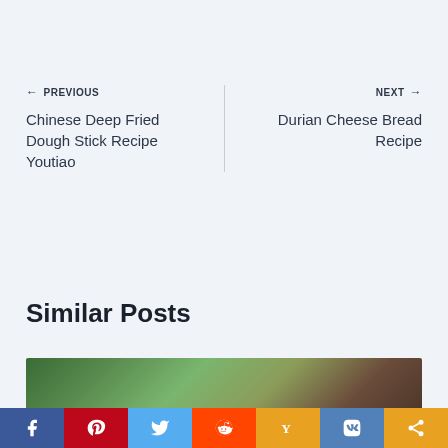← PREVIOUS
Chinese Deep Fried Dough Stick Recipe Youtiao
NEXT →
Durian Cheese Bread Recipe
Similar Posts
[Figure (photo): Food photo partially visible at bottom of page]
Social share bar: Facebook, Pinterest, Twitter, Reddit, Yummly, VK, Share